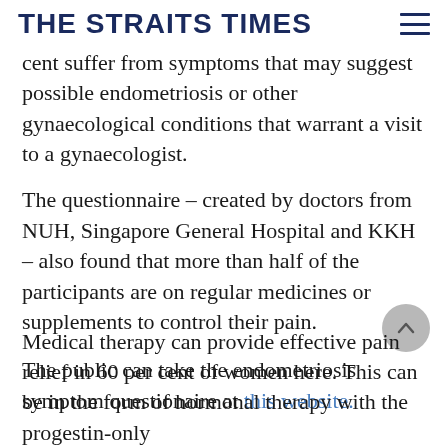THE STRAITS TIMES
…per cent suffer from symptoms that may suggest possible endometriosis or other gynaecological conditions that warrant a visit to a gynaecologist.
The questionnaire – created by doctors from NUH, Singapore General Hospital and KKH – also found that more than half of the participants are on regular medicines or supplements to control their pain.
The public can take the endometriosis symptom questionaire at this website.
Medical therapy can provide effective pain relief in 60 per cent of women here. This can be in the form of hormonal therapy with the progestin-only…